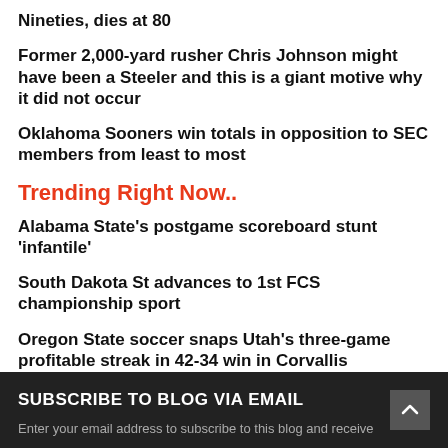Nineties, dies at 80
Former 2,000-yard rusher Chris Johnson might have been a Steeler and this is a giant motive why it did not occur
Oklahoma Sooners win totals in opposition to SEC members from least to most
Trending Right Now..
Alabama State's postgame scoreboard stunt 'infantile'
South Dakota St advances to 1st FCS championship sport
Oregon State soccer snaps Utah's three-game profitable streak in 42-34 win in Corvallis
SUBSCRIBE TO BLOG VIA EMAIL
Enter your email address to subscribe to this blog and receive